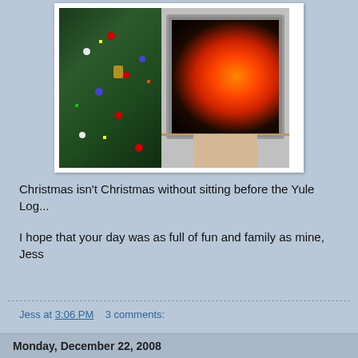[Figure (photo): Photo of a decorated Christmas tree on the left and a CRT television on the right showing a yule log fire burning on screen. The TV sits on a wooden stand/shelf.]
Christmas isn't Christmas without sitting before the Yule Log...
I hope that your day was as full of fun and family as mine, Jess
Jess at 3:06 PM    3 comments:
Monday, December 22, 2008